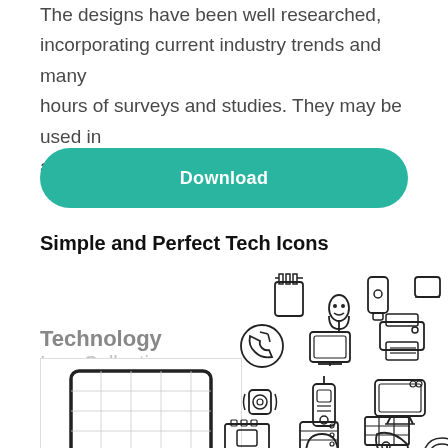The designs have been well researched, incorporating current industry trends and many hours of surveys and studies. They may be used in any type of design.
[Figure (other): Teal/green Download button with rounded corners]
Simple and Perfect Tech Icons
[Figure (illustration): Technology Icon Collection preview image showing outline-style tech icons including laptop, phone, microphone, USB drive, speaker, satellite dish, server rack, headphones, and other technology items arranged in a scattered pattern with text 'Technology Icon Collection']